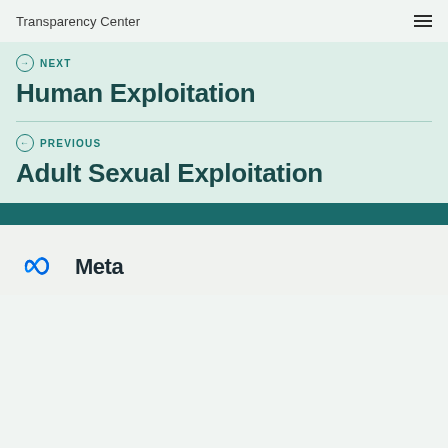Transparency Center
NEXT
Human Exploitation
PREVIOUS
Adult Sexual Exploitation
[Figure (logo): Meta logo with infinity symbol and 'Meta' wordmark]